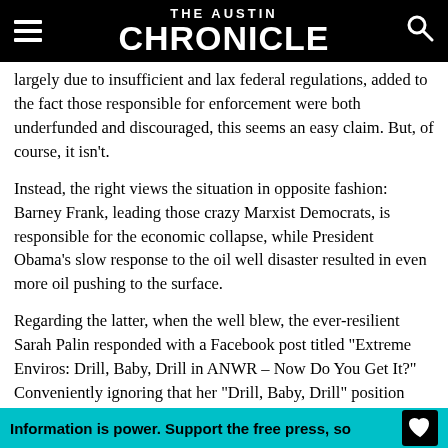THE AUSTIN CHRONICLE
largely due to insufficient and lax federal regulations, added to the fact those responsible for enforcement were both underfunded and discouraged, this seems an easy claim. But, of course, it isn't.
Instead, the right views the situation in opposite fashion: Barney Frank, leading those crazy Marxist Democrats, is responsible for the economic collapse, while President Obama's slow response to the oil well disaster resulted in even more oil pushing to the surface.
Regarding the latter, when the well blew, the ever-resilient Sarah Palin responded with a Facebook post titled "Extreme Enviros: Drill, Baby, Drill in ANWR – Now Do You Get It?" Conveniently ignoring that her "Drill, Baby, Drill" position specifically includes offshore drilling, again she demonstrated that politically she is to Teflon as the nuclear age is to the stone age.
The current Republican posturing on cutting spending and balancing the budget would seem absolutely pathetic if it didn't seem to be working. After mismanaging the government in almost every way possible, the Republicans decided that by being the party of "no," they could position themselves as anti-government,
Information is power. Support the free press, so